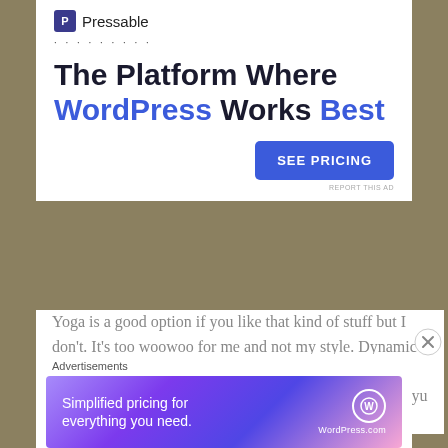[Figure (logo): Pressable brand logo with icon and name, followed by dotted line separator]
The Platform Where WordPress Works Best
[Figure (other): SEE PRICING button (blue rounded rectangle)]
REPORT THIS AD
Yoga is a good option if you like that kind of stuff but I don't. It's too woowoo for me and not my style. Dynamic stretching would benefit many of us, but still can limit your range of motion. My suggestions then are – Taikokyu ( think stretching using a staff to
Advertisements
[Figure (other): WordPress.com simplified pricing advertisement banner with gradient background]